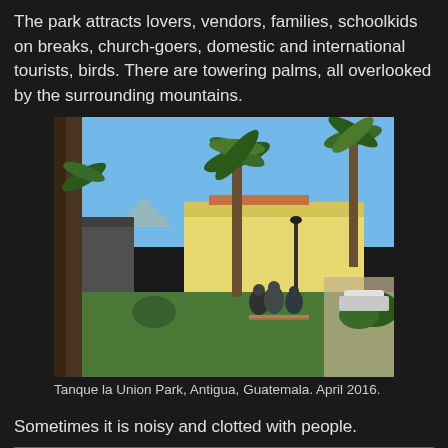The park attracts lovers, vendors, families, schoolkids on breaks, church-goers, domestic and international tourists, birds. There are towering palms, all overlooked by the surrounding mountains.
[Figure (photo): Outdoor park scene with tall palm trees, a yellow colonial building in the background, blue sky, and people sitting on benches in Tanque la Union Park, Antigua, Guatemala, April 2016.]
Tanque la Union Park, Antigua, Guatemala. April 2016.
Sometimes it is noisy and clotted with people.
[Figure (photo): Partial view of another photo, bottom of page, showing a scene in the park.]